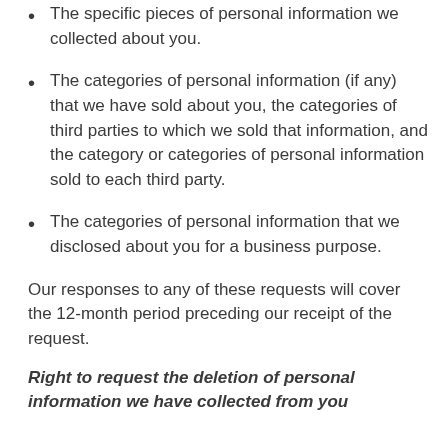The specific pieces of personal information we collected about you.
The categories of personal information (if any) that we have sold about you, the categories of third parties to which we sold that information, and the category or categories of personal information sold to each third party.
The categories of personal information that we disclosed about you for a business purpose.
Our responses to any of these requests will cover the 12-month period preceding our receipt of the request.
Right to request the deletion of personal information we have collected from you